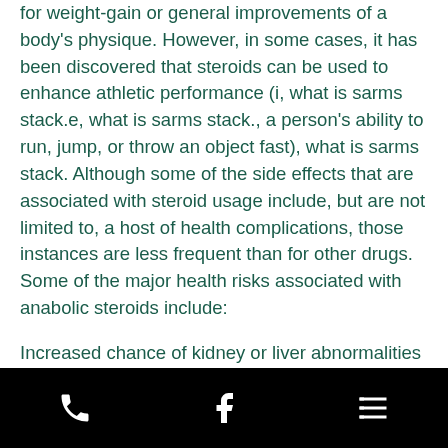for weight-gain or general improvements of a body's physique. However, in some cases, it has been discovered that steroids can be used to enhance athletic performance (i, what is sarms stack.e, what is sarms stack., a person's ability to run, jump, or throw an object fast), what is sarms stack. Although some of the side effects that are associated with steroid usage include, but are not limited to, a host of health complications, those instances are less frequent than for other drugs. Some of the major health risks associated with anabolic steroids include:
Increased chance of kidney or liver abnormalities
Nervous system complications, including seizures and drowsiness
[Figure (other): Black footer bar with three white icons: phone, Facebook, and a list/menu icon]